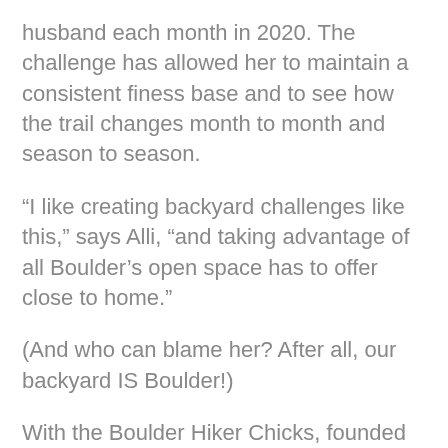husband each month in 2020. The challenge has allowed her to maintain a consistent finess base and to see how the trail changes month to month and season to season.
“I like creating backyard challenges like this,” says Alli, “and taking advantage of all Boulder’s open space has to offer close to home.”
(And who can blame her? After all, our backyard IS Boulder!)
With the Boulder Hiker Chicks, founded in 2014, Alli hikes everywhere from Golden’s Chimney Gulch Trailhead, Glacier Gorge Trailhead in Rocky Mountain National Park and Flatiron Vista